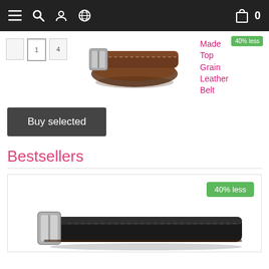[Figure (screenshot): E-commerce website navigation bar with hamburger menu, search, profile, globe icons on left and shopping bag with '0' on right, dark background]
[Figure (photo): Brown leather belt coiled/displayed, with silver buckle]
Made Top Grain Leather Belt
40% less
Buy selected
Bestsellers
[Figure (photo): Black leather belt with silver buckle displayed horizontally]
40% less